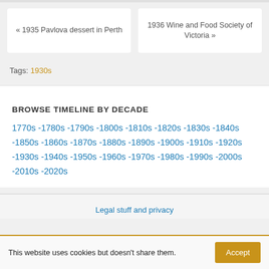« 1935 Pavlova dessert in Perth
1936 Wine and Food Society of Victoria »
Tags: 1930s
BROWSE TIMELINE BY DECADE
1770s -1780s -1790s -1800s -1810s -1820s -1830s -1840s -1850s -1860s -1870s -1880s -1890s -1900s -1910s -1920s -1930s -1940s -1950s -1960s -1970s -1980s -1990s -2000s -2010s -2020s
Legal stuff and privacy
This website uses cookies but doesn't share them.